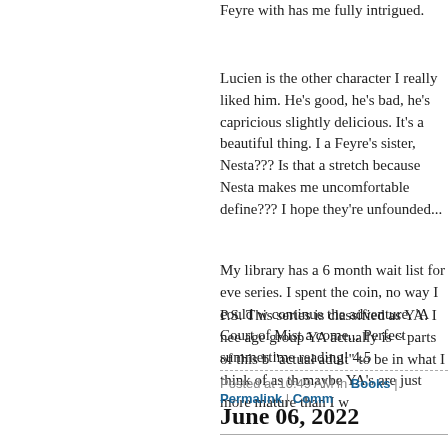Feyre with has me fully intrigued.
Lucien is the other character I really liked him. He's good, he's bad, he's capricious slightly delicious. It's a beautiful thing. I a Feyre's sister, Nesta??? Is that a stretch because Nesta makes me uncomfortable define??? I hope they're unfounded...
My library has a 6 month wait list for eve series. I spent the coin, no way I could w continue the adventure. 'A Court of Mist a come... Perfect summertime reading! 4.5
P.S. This series is classified as YA. I nee age group YA actually is ~ parts of this b "actual adult" to be in what I think of as th maybe YA's are just more mature than I w
Posted at 10:49 AM in Books | Permalink | Comm
June 06, 2022